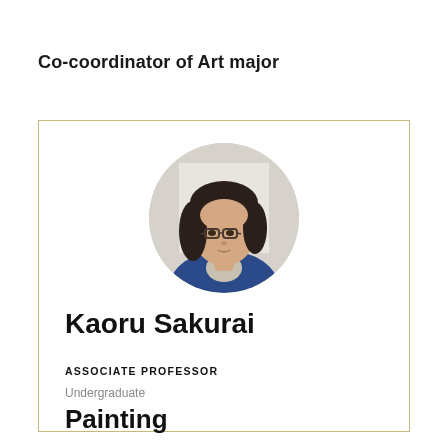Co-coordinator of Art major
[Figure (photo): Circular portrait photo of Kaoru Sakurai, a person with shoulder-length dark hair, glasses, wearing a blue sweater over a collared shirt]
Kaoru Sakurai
ASSOCIATE PROFESSOR
Undergraduate
Painting